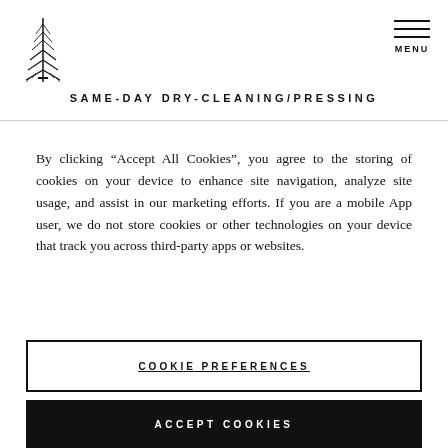[Figure (logo): Evergreen tree / pine tree logo mark in black outline]
[Figure (other): Hamburger menu icon with three horizontal lines and MENU text below]
SAME-DAY DRY-CLEANING/PRESSING
By clicking “Accept All Cookies”, you agree to the storing of cookies on your device to enhance site navigation, analyze site usage, and assist in our marketing efforts. If you are a mobile App user, we do not store cookies or other technologies on your device that track you across third-party apps or websites.
COOKIE PREFERENCES
ACCEPT COOKIES